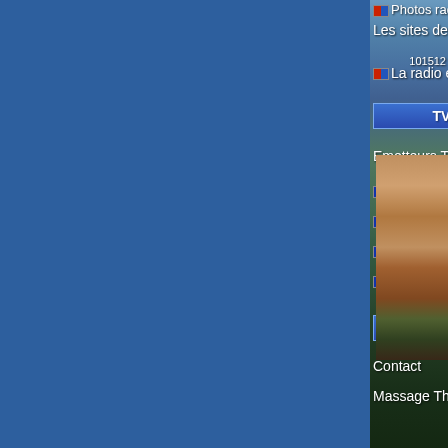[Figure (screenshot): Website navigation menu on a blue mountain landscape background. Left side is solid blue panel. Right side shows mountainous landscape with trees. Navigation items include Photos radio, Les sites de diffusion, La radio en or, TV & TNT button, Emetteurs TV TNT section, list items with flag icons, Contact button, Contact link, Massage Thai Lyon link. Two thumbnail photos visible on right edge - one of a person and one of a seascape. Numbers 101512 visible.]
Photos radio
Les sites de diffusion
La radio en or
TV & TNT
Emetteurs TV TNT
L'Ermitage (agglomération)
Mont Bouquet
Mont St.Baudille (Montpellier)
Mont Ventoux (Avignon)
Contact
Contact
Massage Thai Lyon